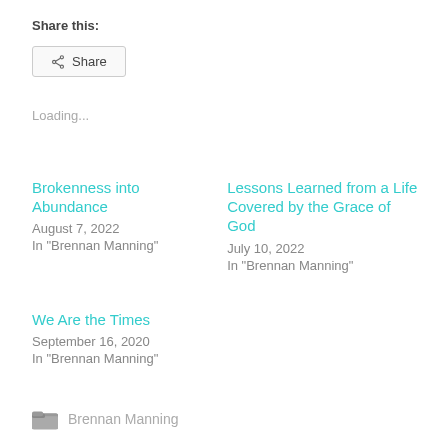Share this:
[Figure (other): Share button with share icon]
Loading...
Brokenness into Abundance
August 7, 2022
In "Brennan Manning"
Lessons Learned from a Life Covered by the Grace of God
July 10, 2022
In "Brennan Manning"
We Are the Times
September 16, 2020
In "Brennan Manning"
Brennan Manning